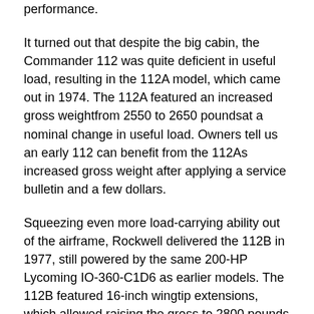performance.
It turned out that despite the big cabin, the Commander 112 was quite deficient in useful load, resulting in the 112A model, which came out in 1974. The 112A featured an increased gross weightfrom 2550 to 2650 poundsat a nominal change in useful load. Owners tell us an early 112 can benefit from the 112As increased gross weight after applying a service bulletin and a few dollars.
Squeezing even more load-carrying ability out of the airframe, Rockwell delivered the 112B in 1977, still powered by the same 200-HP Lycoming IO-360-C1D6 as earlier models. The 112B featured 16-inch wingtip extensions, which allowed raising the gross to 2800 pounds for a respectable useful load of 1020 pounds. By this time the price had climbed to the $50,000 range, which was comparable to the Piper Arrow III.